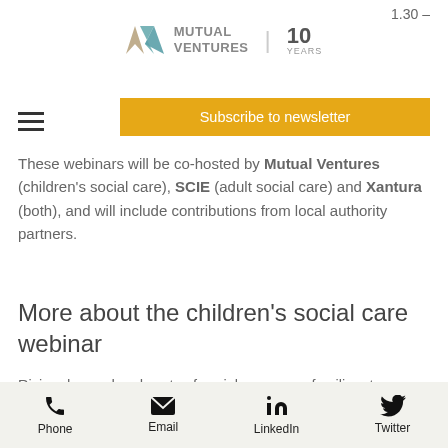Mutual Ventures | 10 Years
1.30 –
[Figure (other): Hamburger menu icon (three horizontal lines)]
Subscribe to newsletter
These webinars will be co-hosted by Mutual Ventures (children's social care), SCIE (adult social care) and Xantura (both), and will include contributions from local authority partners.
More about the children's social care webinar
Rising demand and costs of social care are a familiar story across children's services. Add to that the expectations of a spike in referrals following COVID-19, and decisions on how to prioritise resources will be increasingly important.
Phone | Email | LinkedIn | Twitter